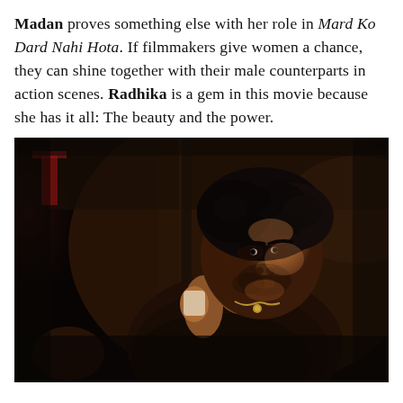Madan proves something else with her role in Mard Ko Dard Nahi Hota. If filmmakers give women a chance, they can shine together with their male counterparts in action scenes. Radhika is a gem in this movie because she has it all: The beauty and the power.
[Figure (photo): Dark cinematic still from the film Mard Ko Dard Nahi Hota showing a young man with curly dark hair, wearing a dark brown t-shirt and a chain necklace, holding a staff or rod, seated in a dimly lit room. The lighting is dramatic with warm highlights on his face and body against a dark background.]